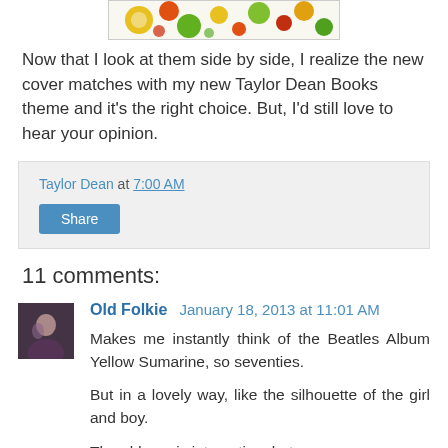[Figure (illustration): Colorful decorative image with circles and organic shapes in green, orange, yellow, red on white background — appears to be a book cover image]
Now that I look at them side by side, I realize the new cover matches with my new Taylor Dean Books theme and it's the right choice. But, I'd still love to hear your opinion.
Taylor Dean at 7:00 AM
Share
11 comments:
Old Folkie  January 18, 2013 at 11:01 AM
Makes me instantly think of the Beatles Album Yellow Sumarine, so seventies.

But in a lovely way, like the silhouette of the girl and boy.

The old one is interesting, but: